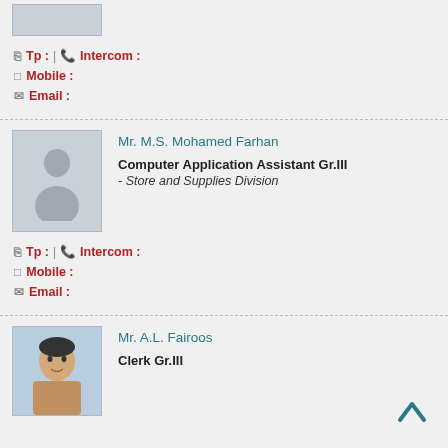[Figure (photo): Partial placeholder silhouette photo at top of page (cropped from previous entry)]
Tp : | Intercom :
Mobile :
Email :
Mr. M.S. Mohamed Farhan
Computer Application Assistant Gr.III
- Store and Supplies Division
Tp : | Intercom :
Mobile :
Email :
Mr. A.L. Fairoos
Clerk Gr.III